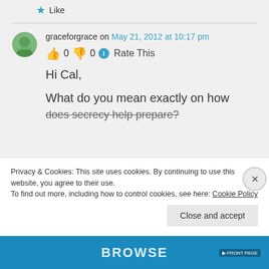★ Like
graceforgrace on May 21, 2012 at 10:17 pm
👍 0 👎 0 ℹ Rate This
Hi Cal,
What do you mean exactly on how does secrecy help prepare?
Privacy & Cookies: This site uses cookies. By continuing to use this website, you agree to their use.
To find out more, including how to control cookies, see here: Cookie Policy
Close and accept